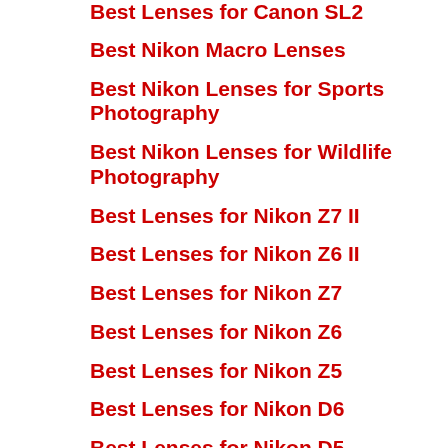Best Lenses for Canon SL2
Best Nikon Macro Lenses
Best Nikon Lenses for Sports Photography
Best Nikon Lenses for Wildlife Photography
Best Lenses for Nikon Z7 II
Best Lenses for Nikon Z6 II
Best Lenses for Nikon Z7
Best Lenses for Nikon Z6
Best Lenses for Nikon Z5
Best Lenses for Nikon D6
Best Lenses for Nikon D5
Best Lenses for Nikon D850
Best Lenses for Nikon D810
Best Lenses for Nikon D780